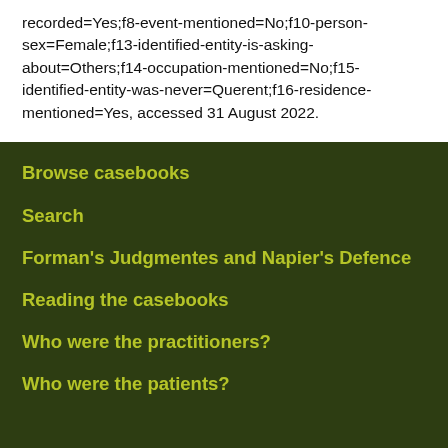recorded=Yes;f8-event-mentioned=No;f10-person-sex=Female;f13-identified-entity-is-asking-about=Others;f14-occupation-mentioned=No;f15-identified-entity-was-never=Querent;f16-residence-mentioned=Yes, accessed 31 August 2022.
Browse casebooks
Search
Forman's Judgmentes and Napier's Defence
Reading the casebooks
Who were the practitioners?
Who were the patients?